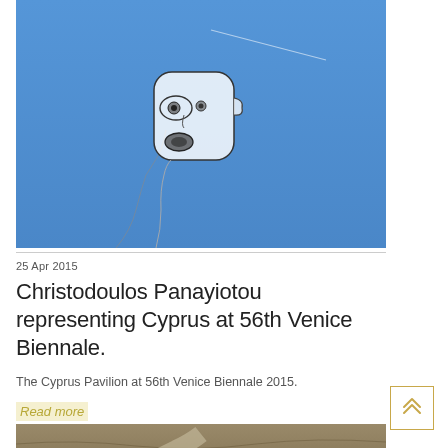[Figure (photo): A sculptural kite/inflatable artwork in the shape of an abstract face or head, with black wire outlines forming facial features (eyes, mouth), floating against a bright blue sky. The figure has a translucent white material forming the face shape with a shoulder/neck outline.]
25 Apr 2015
Christodoulos Panayiotou representing Cyprus at 56th Venice Biennale.
The Cyprus Pavilion at 56th Venice Biennale 2015.
Read more
[Figure (photo): A partial photo showing sandy/rocky ground with a path or road, brown and beige earth tones.]